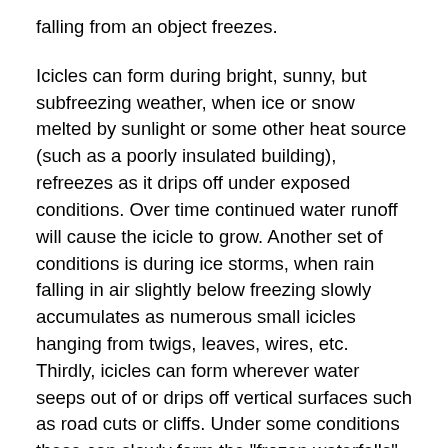falling from an object freezes.
Icicles can form during bright, sunny, but subfreezing weather, when ice or snow melted by sunlight or some other heat source (such as a poorly insulated building), refreezes as it drips off under exposed conditions. Over time continued water runoff will cause the icicle to grow. Another set of conditions is during ice storms, when rain falling in air slightly below freezing slowly accumulates as numerous small icicles hanging from twigs, leaves, wires, etc. Thirdly, icicles can form wherever water seeps out of or drips off vertical surfaces such as road cuts or cliffs. Under some conditions these can slowly form the "frozen waterfalls" favored by ice climbers
Icicles form on surfaces which might have a smooth and straight, or irregular shape, which in turn influences the shape of an icicle. Another influence is melting water, which